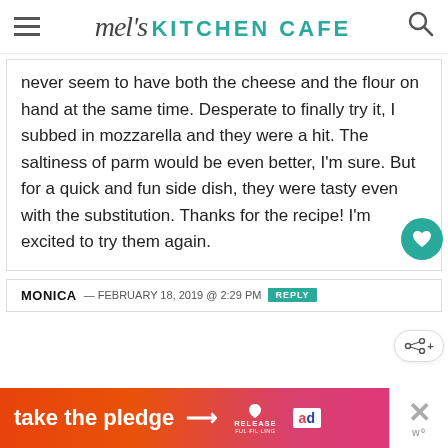mel's KITCHEN CAFE
never seem to have both the cheese and the flour on hand at the same time. Desperate to finally try it, I subbed in mozzarella and they were a hit. The saltiness of parm would be even better, I'm sure. But for a quick and fun side dish, they were tasty even with the substitution. Thanks for the recipe! I'm excited to try them again.
MONICA — FEBRUARY 18, 2019 @ 2:29 PM REPLY
[Figure (infographic): Take the pledge advertisement banner with orange-pink gradient background, arrow, Release logo, and ED logo]